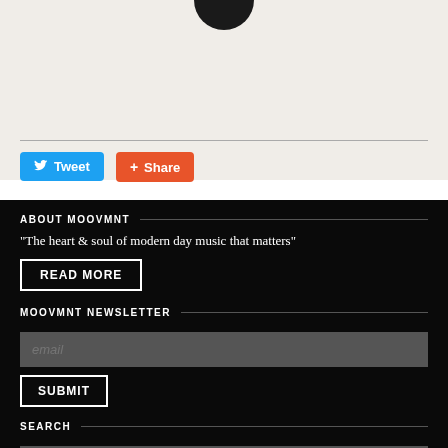[Figure (logo): Partial black circular logo at the top of the page]
Tweet
Share
ABOUT MOOVMNT
"The heart & soul of modern day music that matters"
READ MORE
MOOVMNT NEWSLETTER
email
SUBMIT
SEARCH
type and hit enter